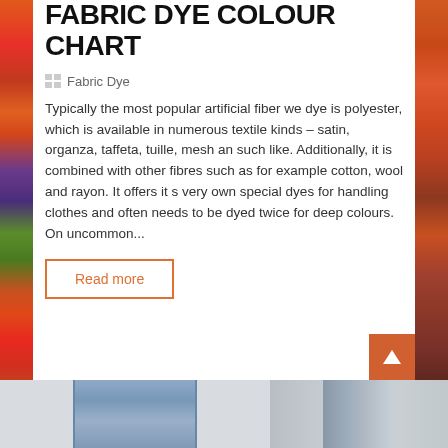FABRIC DYE COLOUR CHART
Fabric Dye
Typically the most popular artificial fiber we dye is polyester, which is available in numerous textile kinds – satin, organza, taffeta, tuille, mesh an such like. Additionally, it is combined with other fibres such as for example cotton, wool and rayon. It offers it s very own special dyes for handling clothes and often needs to be dyed twice for deep colours. On uncommon...
Read more
[Figure (photo): Bottom portion showing two curtain/fabric photos side by side in blue-grey tones, with an orange back-to-top arrow button in the bottom right area]